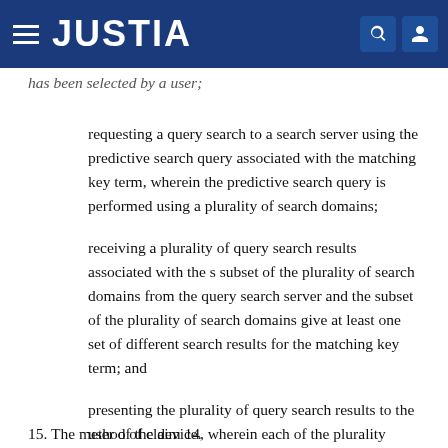JUSTIA
has been selected by a user;
requesting a query search to a search server using the predictive search query associated with the matching key term, wherein the predictive search query is performed using a plurality of search domains;
receiving a plurality of query search results associated with the s subset of the plurality of search domains from the query search server and the subset of the plurality of search domains give at least one set of different search results for the matching key term; and
presenting the plurality of query search results to the user of the device.
15. The method of claim 14, wherein each of the plurality